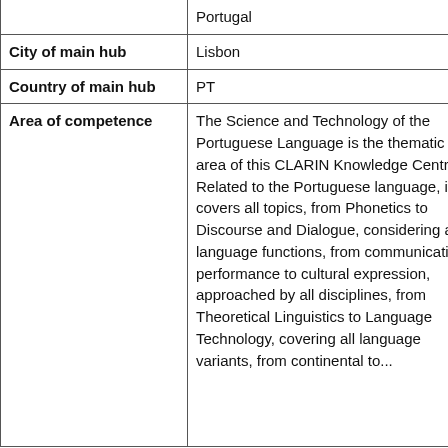|  | Portugal |
| City of main hub | Lisbon |
| Country of main hub | PT |
| Area of competence | The Science and Technology of the Portuguese Language is the thematic area of this CLARIN Knowledge Centre. Related to the Portuguese language, it covers all topics, from Phonetics to Discourse and Dialogue, considering all language functions, from communicative performance to cultural expression, approached by all disciplines, from Theoretical Linguistics to Language Technology, covering all language variants, from continental to... |